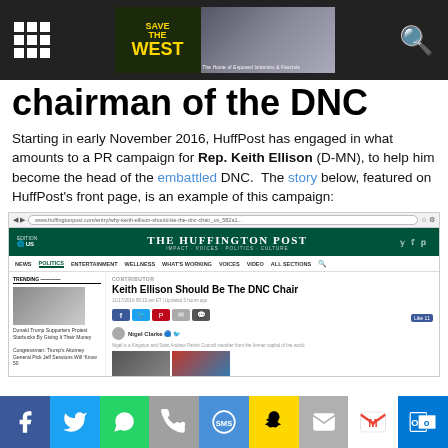Save The West banner and navigation
chairman of the DNC
Starting in early November 2016, HuffPost has engaged in what amounts to a PR campaign for Rep. Keith Ellison (D-MN), to help him become the head of the embattled DNC.  The story below, featured on HuffPost's front page, is an example of this campaign:
[Figure (screenshot): Screenshot of The Huffington Post website showing article 'Keith Ellison Should Be The DNC Chair' under the Politics section, with share buttons and author info]
Social sharing bar with Facebook, Twitter, WhatsApp, Phone, SMS, Snapchat, Email, Gmail, Outlook buttons